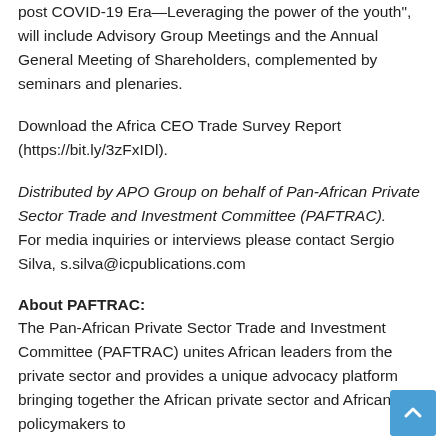post COVID-19 Era—Leveraging the power of the youth", will include Advisory Group Meetings and the Annual General Meeting of Shareholders, complemented by seminars and plenaries.
Download the Africa CEO Trade Survey Report (https://bit.ly/3zFxIDl).
Distributed by APO Group on behalf of Pan-African Private Sector Trade and Investment Committee (PAFTRAC). For media inquiries or interviews please contact Sergio Silva, s.silva@icpublications.com
About PAFTRAC:
The Pan-African Private Sector Trade and Investment Committee (PAFTRAC) unites African leaders from the private sector and provides a unique advocacy platform bringing together the African private sector and African policymakers to